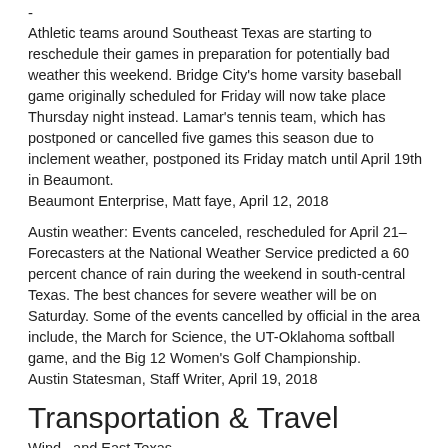-
Athletic teams around Southeast Texas are starting to reschedule their games in preparation for potentially bad weather this weekend. Bridge City's home varsity baseball game originally scheduled for Friday will now take place Thursday night instead. Lamar's tennis team, which has postponed or cancelled five games this season due to inclement weather, postponed its Friday match until April 19th in Beaumont.
Beaumont Enterprise, Matt faye, April 12, 2018
Austin weather: Events canceled, rescheduled for April 21– Forecasters at the National Weather Service predicted a 60 percent chance of rain during the weekend in south-central Texas. The best chances for severe weather will be on Saturday. Some of the events cancelled by official in the area include, the March for Science, the UT-Oklahoma softball game, and the Big 12 Women's Golf Championship.
Austin Statesman, Staff Writer, April 19, 2018
Transportation & Travel
Wind...and East Texas...